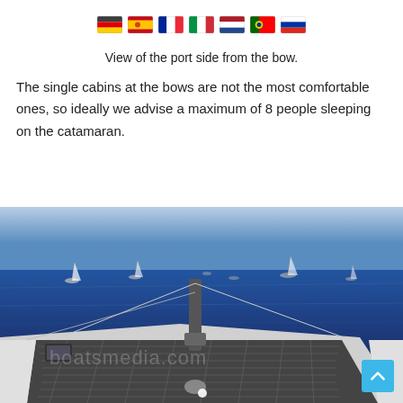[Figure (other): Row of 7 country flag icons: Germany, Spain, France, Italy, Netherlands, Portugal, Russia]
View of the port side from the bow.
The single cabins at the bows are not the most comfortable ones, so ideally we advise a maximum of 8 people sleeping on the catamaran.
[Figure (photo): Photo of a catamaran deck from the bow, showing the trampoline net and a mast in the foreground, with blue ocean water and sailboats in the background. A watermark reads 'boatsmedia.com'. A blue scroll-to-top button is visible in the bottom right corner.]